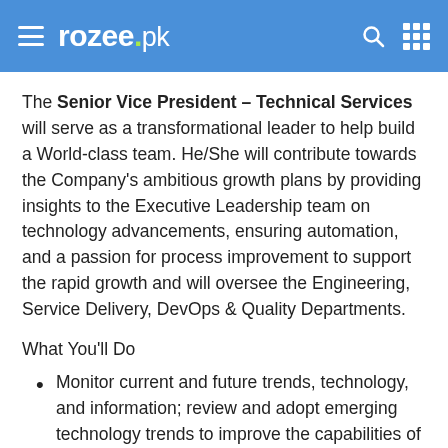rozee.pk
The Senior Vice President – Technical Services will serve as a transformational leader to help build a World-class team. He/She will contribute towards the Company's ambitious growth plans by providing insights to the Executive Leadership team on technology advancements, ensuring automation, and a passion for process improvement to support the rapid growth and will oversee the Engineering, Service Delivery, DevOps & Quality Departments.
What You'll Do
Monitor current and future trends, technology, and information; review and adopt emerging technology trends to improve the capabilities of people and maximize development efficiency.